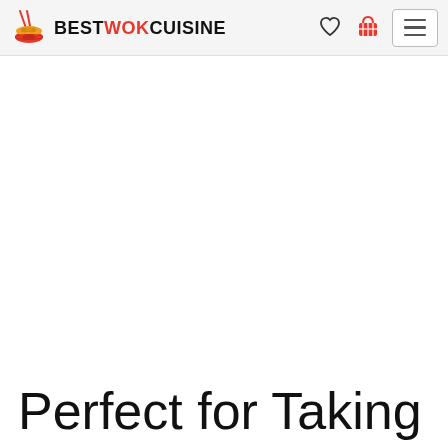BEST WOK CUISINE
Perfect for Taking